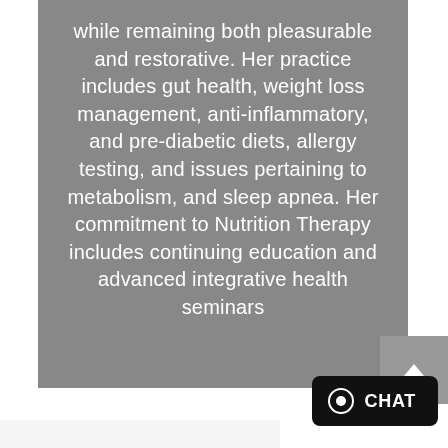while remaining both pleasurable and restorative. Her practice includes gut health, weight loss management, anti-inflammatory, and pre-diabetic diets, allergy testing, and issues pertaining to metabolism, and sleep apnea. Her commitment to Nutrition Therapy includes continuing education and advanced integrative health seminars